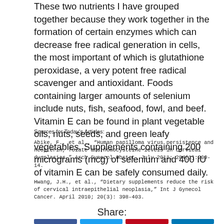These two nutrients I have grouped together because they work together in the formation of certain enzymes which can decrease free radical generation in cells, the most important of which is glutathione peroxidase, a very potent free radical scavenger and antioxidant. Foods containing larger amounts of selenium include nuts, fish, seafood, fowl, and beef. Vitamin E can be found in plant vegetable oils, nuts, seeds, and green leafy vegetables. Supplements containing 200 micrograms (mcg) of selenium and 400 IU of vitamin E can be safely consumed daily.
Sources for Today's Articles:
Abike, F., et al., "Human papilloma virus persistence and neopterin, folate and homocysteine levels in cervical dysplasias," Arch Gynecol Obstet. July 2011; 284(1):209-14.
Hwang, J.H., et al., "Dietary supplements reduce the risk of cervical intraepithelial neoplasia," Int J Gynecol Cancer. April 2010; 20(3): 398-403.
Share: